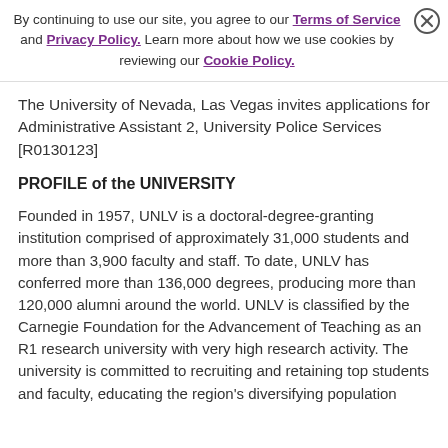By continuing to use our site, you agree to our Terms of Service and Privacy Policy. Learn more about how we use cookies by reviewing our Cookie Policy.
The University of Nevada, Las Vegas invites applications for Administrative Assistant 2, University Police Services [R0130123]
PROFILE of the UNIVERSITY
Founded in 1957, UNLV is a doctoral-degree-granting institution comprised of approximately 31,000 students and more than 3,900 faculty and staff. To date, UNLV has conferred more than 136,000 degrees, producing more than 120,000 alumni around the world. UNLV is classified by the Carnegie Foundation for the Advancement of Teaching as an R1 research university with very high research activity. The university is committed to recruiting and retaining top students and faculty, educating the region's diversifying population